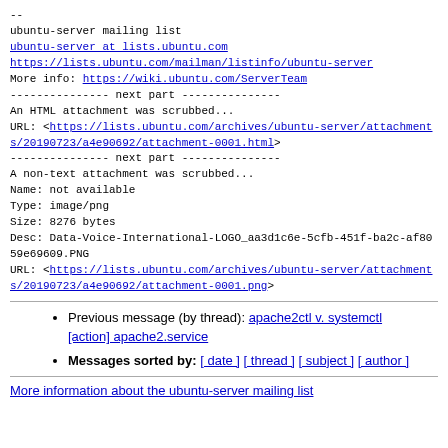--
ubuntu-server mailing list
ubuntu-server at lists.ubuntu.com
https://lists.ubuntu.com/mailman/listinfo/ubuntu-server
More info: https://wiki.ubuntu.com/ServerTeam
--------------- next part ---------------
An HTML attachment was scrubbed...
URL: <https://lists.ubuntu.com/archives/ubuntu-server/attachments/20190723/a4e90692/attachment-0001.html>
--------------- next part ---------------
A non-text attachment was scrubbed...
Name: not available
Type: image/png
Size: 8276 bytes
Desc: Data-Voice-International-LOGO_aa3d1c6e-5cfb-451f-ba2c-af8059e69609.PNG
URL: <https://lists.ubuntu.com/archives/ubuntu-server/attachments/20190723/a4e90692/attachment-0001.png>
Previous message (by thread): apache2ctl v. systemctl [action] apache2.service
Messages sorted by: [ date ] [ thread ] [ subject ] [ author ]
More information about the ubuntu-server mailing list